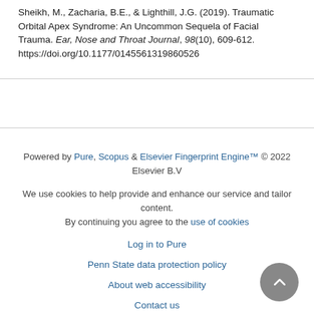Sheikh, M., Zacharia, B.E., & Lighthill, J.G. (2019). Traumatic Orbital Apex Syndrome: An Uncommon Sequela of Facial Trauma. Ear, Nose and Throat Journal, 98(10), 609-612. https://doi.org/10.1177/0145561319860526
Powered by Pure, Scopus & Elsevier Fingerprint Engine™ © 2022 Elsevier B.V
We use cookies to help provide and enhance our service and tailor content. By continuing you agree to the use of cookies
Log in to Pure
Penn State data protection policy
About web accessibility
Contact us